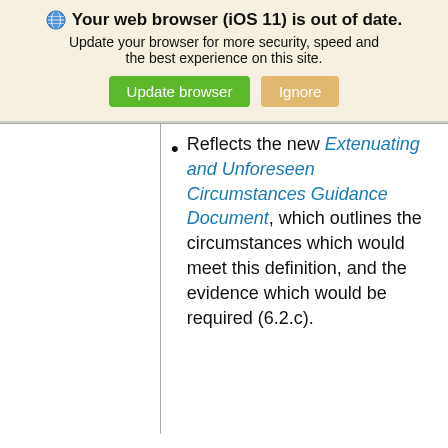[Figure (screenshot): Browser update warning banner with globe icon, bold title 'Your web browser (iOS 11) is out of date.', subtitle text, and two buttons: 'Update browser' (green) and 'Ignore' (tan/orange)]
Reflects the new Extenuating and Unforeseen Circumstances Guidance Document, which outlines the circumstances which would meet this definition, and the evidence which would be required (6.2.c).